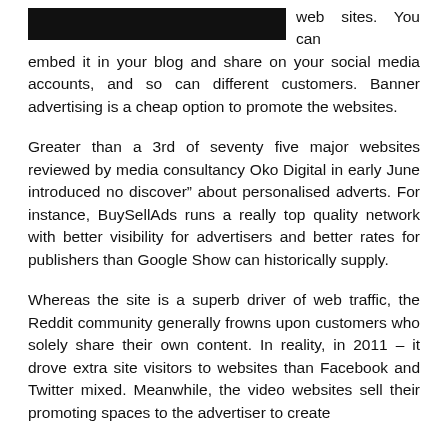web sites. You can embed it in your blog and share on your social media accounts, and so can different customers. Banner advertising is a cheap option to promote the websites.
Greater than a 3rd of seventy five major websites reviewed by media consultancy Oko Digital in early June introduced no discover" about personalised adverts. For instance, BuySellAds runs a really top quality network with better visibility for advertisers and better rates for publishers than Google Show can historically supply.
Whereas the site is a superb driver of web traffic, the Reddit community generally frowns upon customers who solely share their own content. In reality, in 2011 – it drove extra site visitors to websites than Facebook and Twitter mixed. Meanwhile, the video websites sell their promoting spaces to the advertiser to create